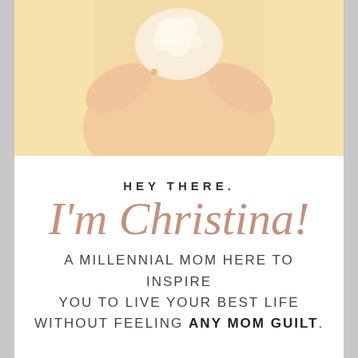[Figure (photo): A person in a bathtub holding up soap bubbles or foam with their hands in a warm, golden-toned bathroom setting.]
HEY THERE.
I'm Christina!
A MILLENNIAL MOM HERE TO INSPIRE YOU TO LIVE YOUR BEST LIFE WITHOUT FEELING ANY MOM GUILT.